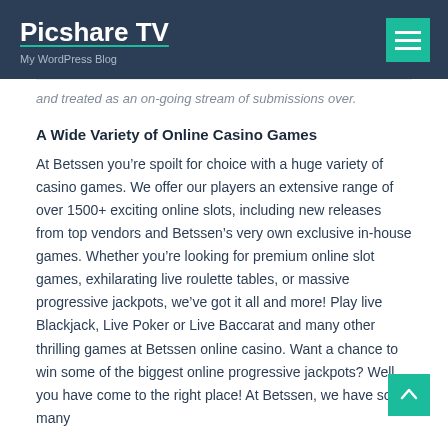Picshare TV
My WordPress Blog
and treated as an on-going stream of submissions over.
A Wide Variety of Online Casino Games
At Betssen you’re spoilt for choice with a huge variety of casino games. We offer our players an extensive range of over 1500+ exciting online slots, including new releases from top vendors and Betssen’s very own exclusive in-house games. Whether you’re looking for premium online slot games, exhilarating live roulette tables, or massive progressive jackpots, we’ve got it all and more! Play live Blackjack, Live Poker or Live Baccarat and many other thrilling games at Betssen online casino. Want a chance to win some of the biggest online progressive jackpots? Well you have come to the right place! At Betssen, we have so many